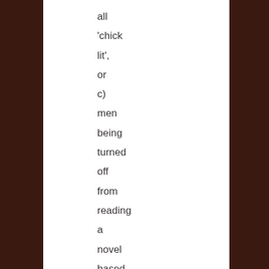all 'chick lit', or c) men being turned off from reading a novel based on a sticker on its cover from a